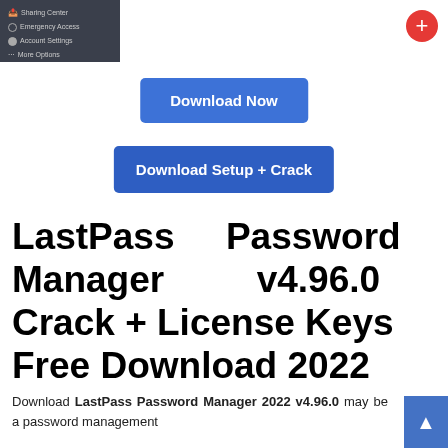[Figure (screenshot): Dark sidebar menu showing: Sharing Center, Emergency Access, Account Settings, More Options items, with a red circular plus button in the top right corner]
[Figure (screenshot): Blue button labeled 'Download Now']
[Figure (screenshot): Wider blue button labeled 'Download Setup + Crack']
LastPass Password Manager v4.96.0 Crack + License Keys Free Download 2022
Download LastPass Password Manager 2022 v4.96.0 may be a password management